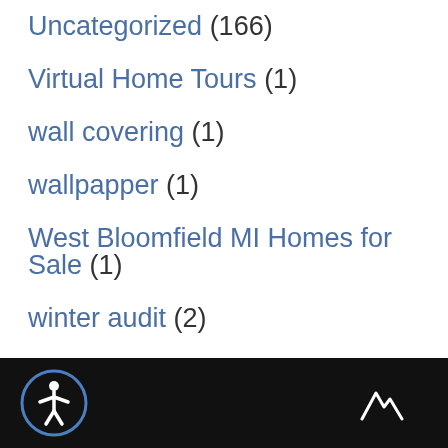Uncategorized (166)
Virtual Home Tours (1)
wall covering (1)
wallpapper (1)
West Bloomfield MI Homes for Sale (1)
winter audit (2)
winter buying (1)
winter listings (2)
[Figure (logo): Accessibility icon (person in circle) in footer, and mountain logo mark in bottom right]